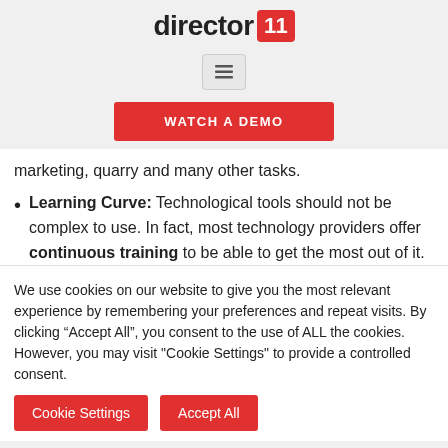director11
[Figure (other): Hamburger menu icon button]
[Figure (other): WATCH A DEMO red button]
marketing, quarry and many other tasks.
Learning Curve: Technological tools should not be complex to use. In fact, most technology providers offer continuous training to be able to get the most out of it.
We use cookies on our website to give you the most relevant experience by remembering your preferences and repeat visits. By clicking "Accept All", you consent to the use of ALL the cookies. However, you may visit "Cookie Settings" to provide a controlled consent.